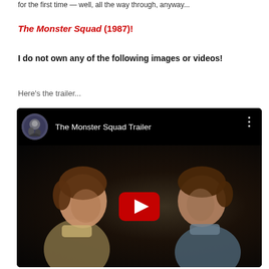for the first time — well, all the way through, anyway...
The Monster Squad (1987)!
I do not own any of the following images or videos!
Here's the trailer...
[Figure (screenshot): Embedded YouTube video player showing 'The Monster Squad Trailer' with a channel avatar on the left, the title text, a three-dot menu icon top right, and a dark thumbnail image of two boys facing each other with a red YouTube play button overlay in the center.]